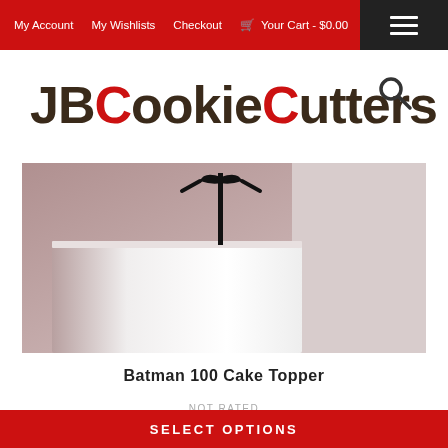My Account  My Wishlists  Checkout  🛒 Your Cart - $0.00
[Figure (logo): JBCookieCutters logo with JB and C letters in red, rest in dark brown/black]
[Figure (photo): Batman 100 Cake Topper product photo showing a black acrylic cake topper on a white cake with a purple/mauve background]
Batman 100 Cake Topper
NOT RATED
$13.99 – $23.99
SELECT OPTIONS